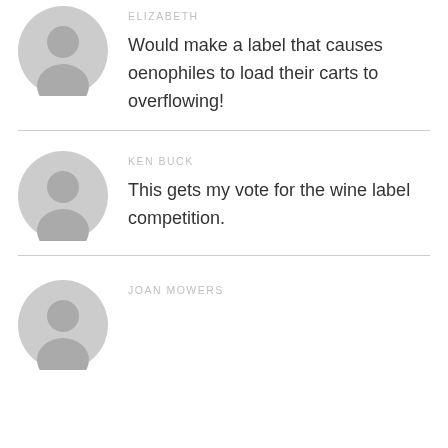ELIZABETH
Would make a label that causes oenophiles to load their carts to overflowing!
KEN BUCK
This gets my vote for the wine label competition.
JOAN MOWERS